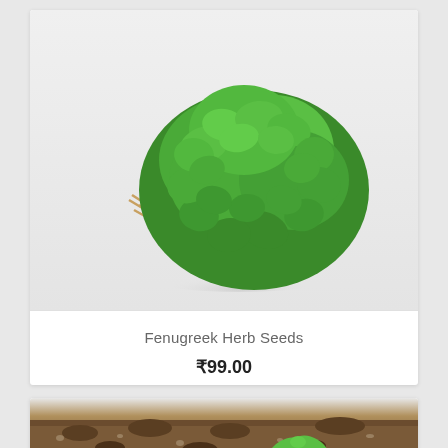[Figure (photo): A bunch of fresh fenugreek herb with green leafy tops and yellowish-brown roots/stems on a light grey background]
Fenugreek Herb Seeds
₹99.00
[Figure (photo): A small green seedling sprouting from dark soil/earth, viewed close up]